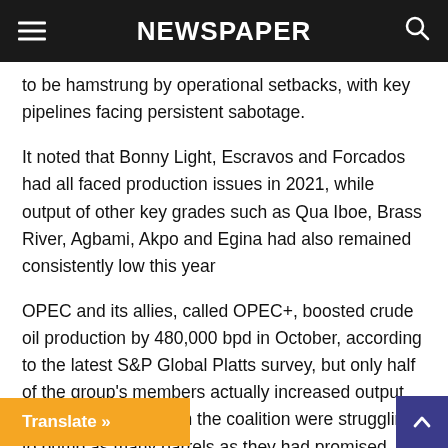NEWSPAPER
to be hamstrung by operational setbacks, with key pipelines facing persistent sabotage.
It noted that Bonny Light, Escravos and Forcados had all faced production issues in 2021, while output of other key grades such as Qua Iboe, Brass River, Agbami, Akpo and Egina had also remained consistently low this year
OPEC and its allies, called OPEC+, boosted crude oil production by 480,000 bpd in October, according to the latest S&P Global Platts survey, but only half of the group's members actually increased output last month as many in the coalition were struggling to pump as many barrels as they had promised.